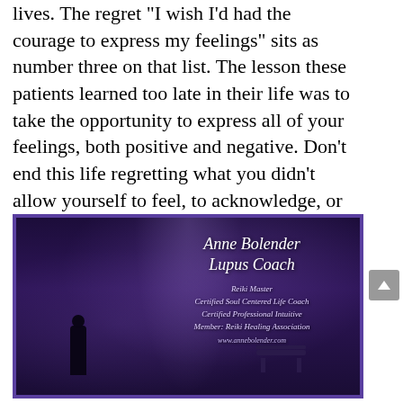lives. The regret "I wish I'd had the courage to express my feelings" sits as number three on that list. The lesson these patients learned too late in their life was to take the opportunity to express all of your feelings, both positive and negative. Don't end this life regretting what you didn't allow yourself to feel, to acknowledge, or to express.
[Figure (illustration): Dark atmospheric image of a person silhouette standing in a foggy park at night with a bench nearby. Purple-toned overlay. Text overlay reads: Anne Bolender Lupus Coach — Reiki Master, Certified Soul Centered Life Coach, Certified Professional Intuitive, Member: Reiki Healing Association, www.annebolender.com]